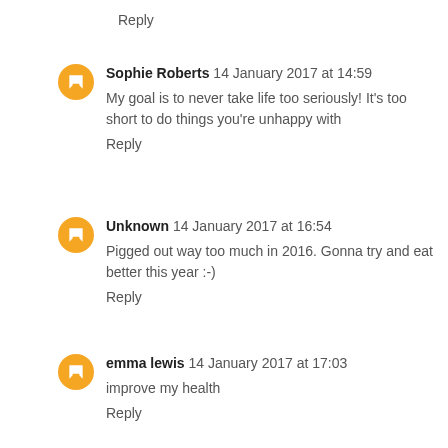Reply
Sophie Roberts  14 January 2017 at 14:59
My goal is to never take life too seriously! It's too short to do things you're unhappy with
Reply
Unknown  14 January 2017 at 16:54
Pigged out way too much in 2016. Gonna try and eat better this year :-)
Reply
emma lewis  14 January 2017 at 17:03
improve my health
Reply